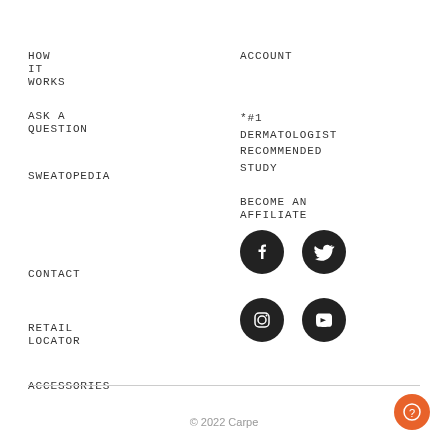HOW IT WORKS
ACCOUNT
ASK A QUESTION
*#1 DERMATOLOGIST RECOMMENDED STUDY
SWEATOPEDIA
BECOME AN AFFILIATE
CONTACT
RETAIL LOCATOR
ACCESSORIES
[Figure (illustration): Social media icons: Facebook, Twitter, Instagram, YouTube in dark circular buttons]
© 2022 Carpe